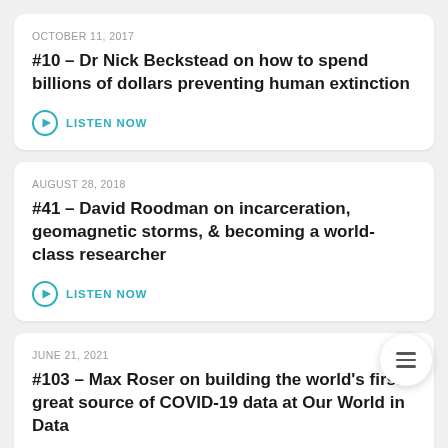OCTOBER 11, 2017
#10 – Dr Nick Beckstead on how to spend billions of dollars preventing human extinction
LISTEN NOW
AUGUST 28, 2018
#41 – David Roodman on incarceration, geomagnetic storms, & becoming a world-class researcher
LISTEN NOW
JUNE 21, 2021
#103 – Max Roser on building the world's first great source of COVID-19 data at Our World in Data
LISTEN NOW